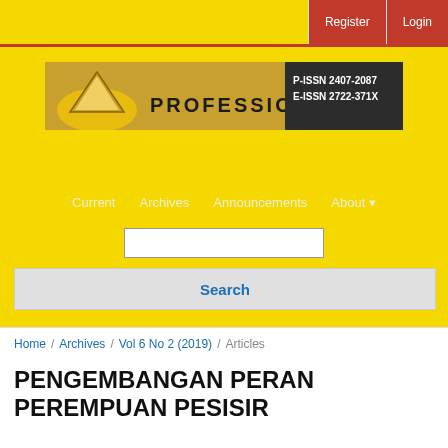Register  Login
[Figure (screenshot): Journal banner image with text PROFESSIONAL and ISSN numbers: P-ISSN 2407-2087, E-ISSN 2722-371X]
Current   Archives   Announcements   About
Search (search input box and button)
Home / Archives / Vol 6 No 2 (2019) / Articles
PENGEMBANGAN PERAN PEREMPUAN PESISIR